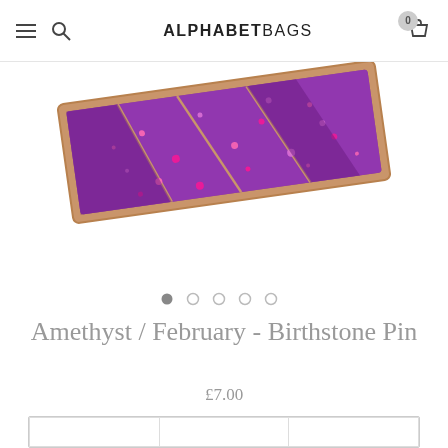ALPHABETBAGS
[Figure (photo): A birthstone pin product photo showing a rectangular purple glitter enamel pin with rose gold geometric border, partially cropped at the top of the image.]
Amethyst / February - Birthstone Pin
£7.00